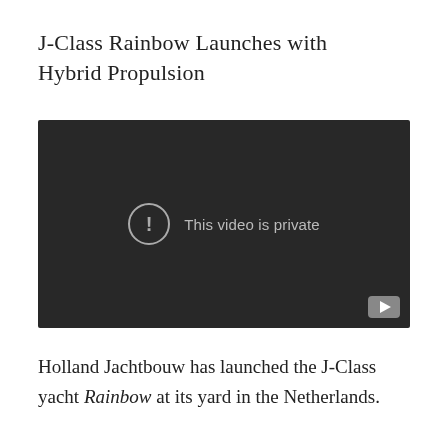J-Class Rainbow Launches with Hybrid Propulsion
[Figure (screenshot): Embedded video player showing a dark/black screen with a circular exclamation mark icon and the message 'This video is private' in gray text. A YouTube play button icon is visible in the bottom-right corner.]
Holland Jachtbouw has launched the J-Class yacht Rainbow at its yard in the Netherlands.